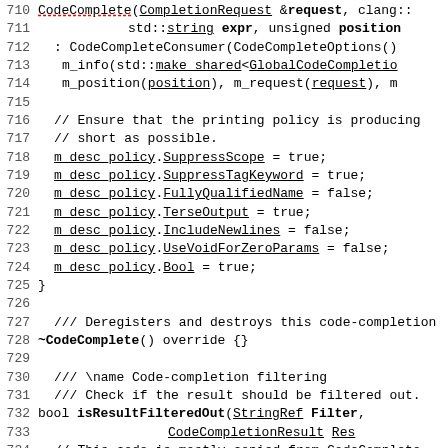[Figure (screenshot): Source code listing (C++) showing lines 710-739, including a CodeComplete constructor, destructor, and isResultFilteredOut method with underlined identifiers and some bold text.]